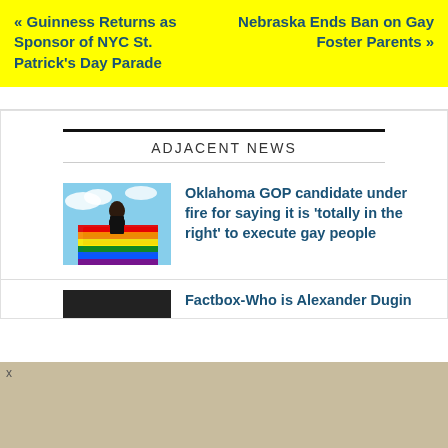« Guinness Returns as Sponsor of NYC St. Patrick's Day Parade
Nebraska Ends Ban on Gay Foster Parents »
ADJACENT NEWS
Oklahoma GOP candidate under fire for saying it is 'totally in the right' to execute gay people
[Figure (photo): Person wrapped in rainbow pride flag against blue sky]
Factbox-Who is Alexander Dugin